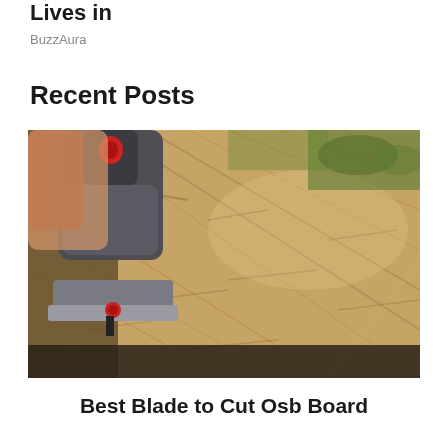Lives in
BuzzAura
Recent Posts
[Figure (photo): A person using a jigsaw to cut an OSB (oriented strand board) sheet outdoors. The jigsaw is grey and black with red accents. The board shows characteristic wood strand texture. Background has green grass.]
Best Blade to Cut Osb Board